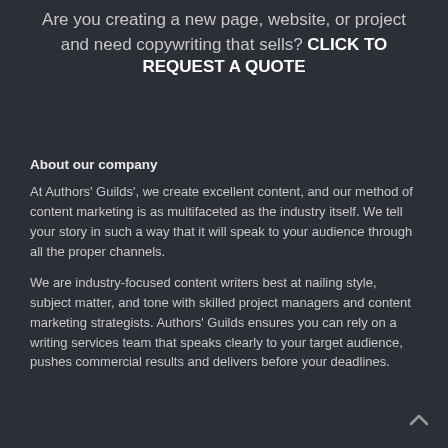Are you creating a new page, website, or project and need copywriting that sells? CLICK TO REQUEST A QUOTE
About our company
At Authors' Guilds', we create excellent content, and our method of content marketing is as multifaceted as the industry itself. We tell your story in such a way that it will speak to your audience through all the proper channels.
We are industry-focused content writers best at nailing style, subject matter, and tone with skilled project managers and content marketing strategists. Authors' Guilds ensures you can rely on a writing services team that speaks clearly to your target audience, pushes commercial results and delivers before your deadlines.